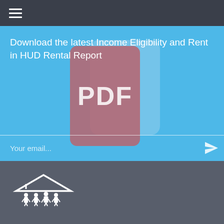Download the latest Income Eligibility and Rent in HUD Rental Report
[Figure (illustration): PDF icon illustration showing a reddish-mauve square with 'PDF' text overlaid on a phone-like card shape with a lighter blue card behind it]
Your email...
[Figure (logo): LowIncomeHousing.us logo with a white house/roof icon above figures of people, and the text 'LowIncomeHousing.us' below]